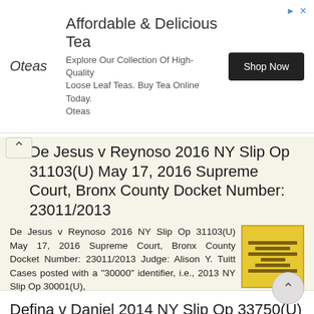[Figure (other): Advertisement banner for Oteas tea. Title: 'Affordable & Delicious Tea'. Subtitle: 'Explore Our Collection Of High-Quality Loose Leaf Teas. Buy Tea Online Today. Oteas'. Button: 'Shop Now'.]
De Jesus v Reynoso 2016 NY Slip Op 31103(U) May 17, 2016 Supreme Court, Bronx County Docket Number: 23011/2013
De Jesus v Reynoso 2016 NY Slip Op 31103(U) May 17, 2016 Supreme Court, Bronx County Docket Number: 23011/2013 Judge: Alison Y. Tuitt Cases posted with a "30000" identifier, i.e., 2013 NY Slip Op 30001(U),
More information →
Defina v Daniel 2014 NY Slip Op 33750(U) March 4, 2014 Supreme Court, Nassau County Docket Number: 13784/12 Judge: